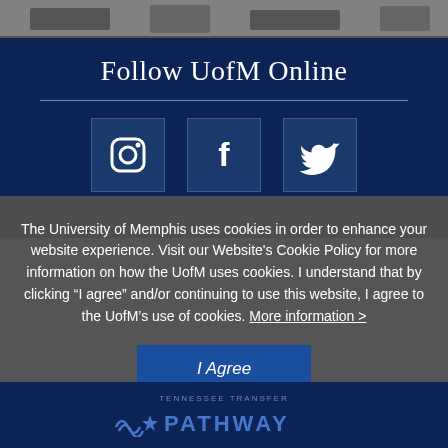[Figure (photo): Black and white photo strip at the top of the page showing a campus scene]
Follow UofM Online
[Figure (infographic): Three social media icons in dark blue boxes: Instagram, Facebook, and Twitter icons in white on navy blue background]
The University of Memphis uses cookies in order to enhance your website experience. Visit our Website's Cookie Policy for more information on how the UofM uses cookies. I understand that by clicking “I agree” and/or continuing to use this website, I agree to the UofM’s use of cookies. More information >
I Agree
[Figure (logo): Tennessee Transfer Pathway logo at the bottom of the page on dark navy background]